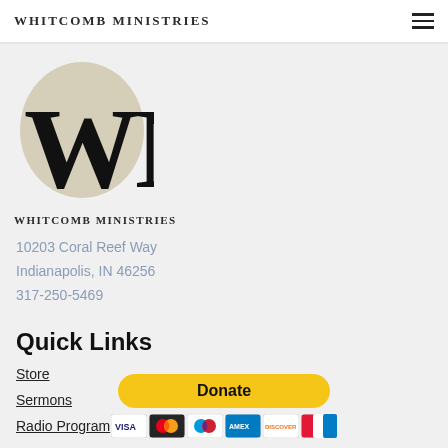Whitcomb Ministries
[Figure (logo): Whitcomb Ministries WM logo with globe background and text 'Whitcomb Ministries' below]
10203 Coral Reef Way
Indianapolis, IN 46256
317-250-5469
Quick Links
Store
Sermons
Radio Program
[Figure (other): PayPal Donate button with payment card icons (Visa, Mastercard, Maestro, American Express, Discover, UnionPay)]